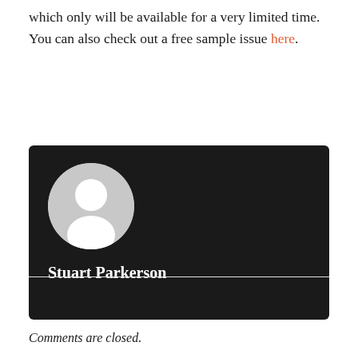which only will be available for a very limited time. You can also check out a free sample issue here.
[Figure (illustration): Dark author card with a generic grey avatar circle (person silhouette) and the name Stuart Parkerson in white bold text below.]
Comments are closed.